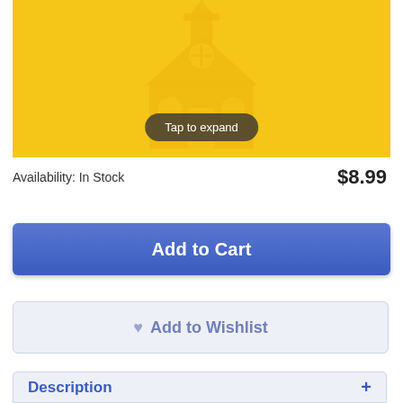[Figure (illustration): Yellow background with a light yellow church building icon showing a steeple with cross, arched windows, and double doors. A dark rounded tooltip reads 'Tap to expand'.]
Availability: In Stock
$8.99
Add to Cart
Add to Wishlist
Description